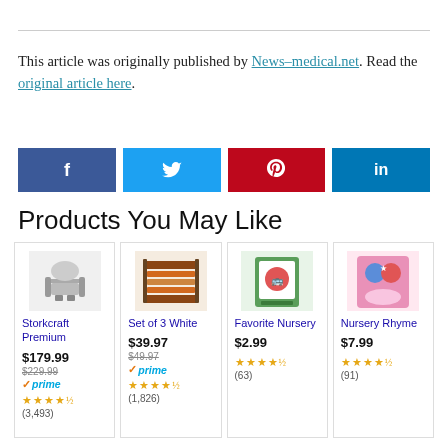This article was originally published by News-medical.net. Read the original article here.
[Figure (infographic): Social media share buttons: Facebook, Twitter, Pinterest, LinkedIn]
Products You May Like
[Figure (infographic): Product card: Storkcraft Premium, $179.99 (was $229.99), Prime, 4.5 stars, (3,493) reviews]
[Figure (infographic): Product card: Set of 3 White, $39.97 (was $49.97), Prime, 4.5 stars, (1,826) reviews]
[Figure (infographic): Product card: Favorite Nursery, $2.99, 4.5 stars, (63) reviews]
[Figure (infographic): Product card: Nursery Rhyme, $7.99, 4.5 stars, (91) reviews]